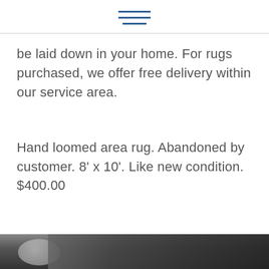[Figure (other): Hamburger menu icon with three horizontal blue lines]
be laid down in your home. For rugs purchased, we offer free delivery within our service area.
Hand loomed area rug. Abandoned by customer. 8' x 10'. Like new condition. $400.00
[Figure (photo): Partial photo at the bottom of the page showing a rug or related product]